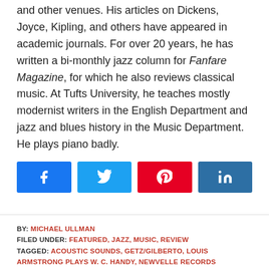and other venues. His articles on Dickens, Joyce, Kipling, and others have appeared in academic journals. For over 20 years, he has written a bi-monthly jazz column for Fanfare Magazine, for which he also reviews classical music. At Tufts University, he teaches mostly modernist writers in the English Department and jazz and blues history in the Music Department. He plays piano badly.
[Figure (infographic): Row of four social share buttons: Facebook (blue), Twitter (light blue), Pinterest (red), LinkedIn (dark blue)]
BY: MICHAEL ULLMAN
FILED UNDER: FEATURED, JAZZ, MUSIC, REVIEW
TAGGED: ACOUSTIC SOUNDS, GETZ/GILBERTO, LOUIS ARMSTRONG PLAYS W. C. HANDY, NEWVELLE RECORDS
[Figure (infographic): Row of four social share buttons: Facebook (blue), Twitter (light blue), Pinterest (red), LinkedIn (dark blue)]